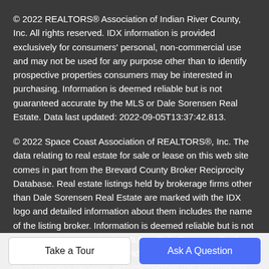© 2022 REALTORS® Association of Indian River County, Inc. All rights reserved. IDX information is provided exclusively for consumers' personal, non-commercial use and may not be used for any purpose other than to identify prospective properties consumers may be interested in purchasing. Information is deemed reliable but is not guaranteed accurate by the MLS or Dale Sorensen Real Estate. Data last updated: 2022-09-05T13:37:42.813.
© 2022 Space Coast Association of REALTORS®, Inc. The data relating to real estate for sale or lease on this web site comes in part from the Brevard County Broker Reciprocity Database. Real estate listings held by brokerage firms other than Dale Sorensen Real Estate are marked with the IDX logo and detailed information about them includes the name of the listing broker. Information is deemed reliable but is not guaranteed accurate by the MLS or Dale Sorensen Real Estate.IDX information is provided exclusively for consumers' personal, non-commercial use and may not be used for
Take a Tour
Ask A Question